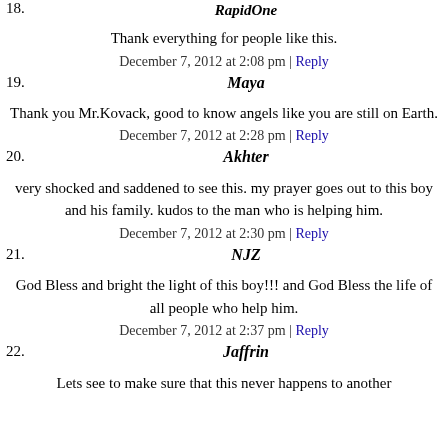Thank everything for people like this.
December 7, 2012 at 2:08 pm | Reply
19. Maya
Thank you Mr.Kovack, good to know angels like you are still on Earth.
December 7, 2012 at 2:28 pm | Reply
20. Akhter
very shocked and saddened to see this. my prayer goes out to this boy and his family. kudos to the man who is helping him.
December 7, 2012 at 2:30 pm | Reply
21. NJZ
God Bless and bright the light of this boy!!! and God Bless the life of all people who help him.
December 7, 2012 at 2:37 pm | Reply
22. Jaffrin
Lets see to make sure that this never happens to another